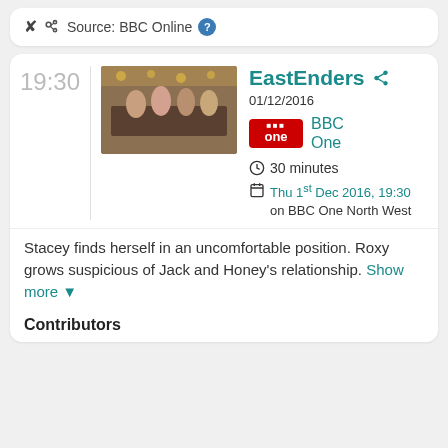Source: BBC Online ?
EastEnders
01/12/2016
BBC One
30 minutes
Thu 1st Dec 2016, 19:30 on BBC One North West
Stacey finds herself in an uncomfortable position. Roxy grows suspicious of Jack and Honey's relationship. Show more
Contributors